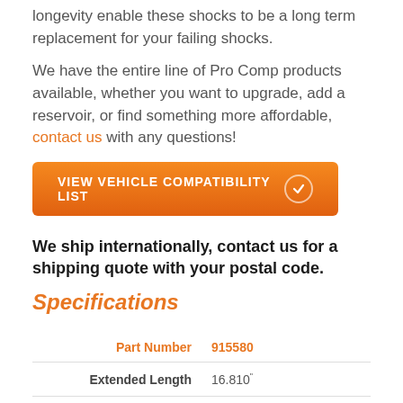longevity enable these shocks to be a long term replacement for your failing shocks.

We have the entire line of Pro Comp products available, whether you want to upgrade, add a reservoir, or find something more affordable, contact us with any questions!
[Figure (other): Orange button labeled 'VIEW VEHICLE COMPATIBILITY LIST' with a checkmark circle icon on the right]
We ship internationally, contact us for a shipping quote with your postal code.
Specifications
| Label | Value |
| --- | --- |
| Part Number | 915580 |
| Extended Length | 16.810" |